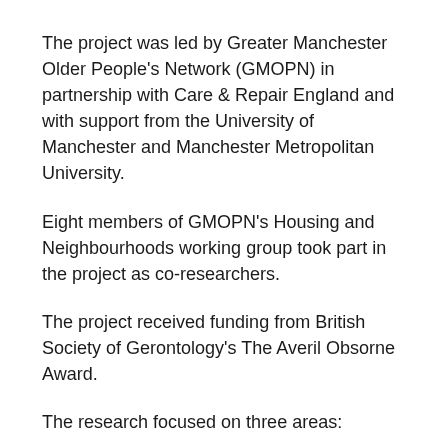The project was led by Greater Manchester Older People's Network (GMOPN) in partnership with Care & Repair England and with support from the University of Manchester and Manchester Metropolitan University.
Eight members of GMOPN's Housing and Neighbourhoods working group took part in the project as co-researchers.
The project received funding from British Society of Gerontology's The Averil Obsorne Award.
The research focused on three areas:
The process of getting through to a person who can provide housing options information and advice in the local authority, and focus on the use of websites to provide information.